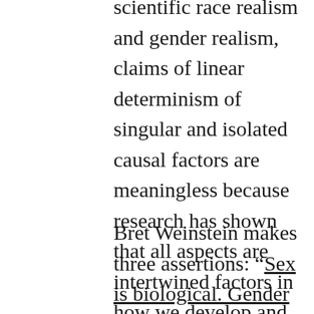scientific race realism and gender realism, claims of linear determinism of singular and isolated causal factors are meaningless because research has shown that all aspects are intertwined factors in how we develop and who we become.
Bret Weinstein makes three assertions: “Sex is biological. Gender is cultural. Culture is biological.” I don’t know what is his ideological position. But he sounds like a genetic determinist, although this is not clear since he also claims that his assertions have nothing to do with group selection (a standard